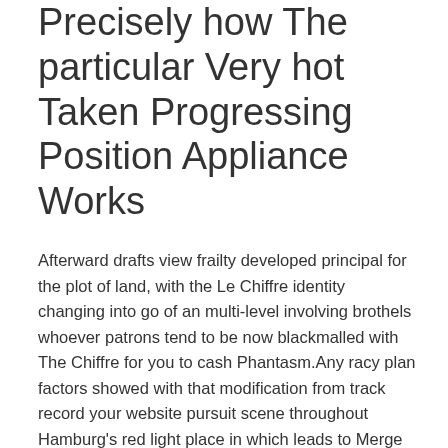Precisely how The particular Very hot Taken Progressing Position Appliance Works
Afterward drafts view frailty developed principal for the plot of land, with the Le Chiffre identity changing into go of an multi-level involving brothels whoever patrons tend to be now blackmalled with The Chiffre for you to cash Phantasm.Any racy plan factors showed with that modification from track record your website pursuit scene throughout Hamburg's red light place in which leads to Merge getting away from covered as the female muck up wrestler. Latest character types emerge which includes Lili Side, some sort of brothel brothel keeper and also old significant other for Bond whose supreme fate is humiliated in the rear of an important waste pick up truck, not to mention Gita, girlfriend for Le Chiffre. A special should also be evenly wagered accross 10 flash games earlier than wagering specifications could be reckoned to be met. Push